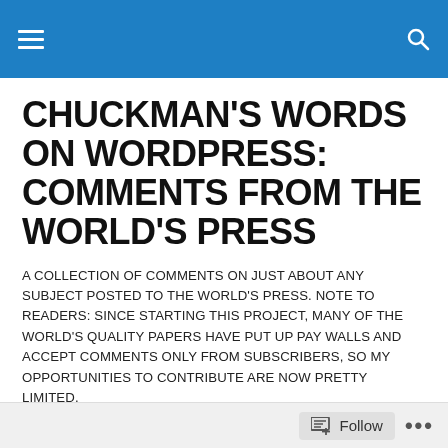CHUCKMAN'S WORDS ON WORDPRESS: COMMENTS FROM THE WORLD'S PRESS
A COLLECTION OF COMMENTS ON JUST ABOUT ANY SUBJECT POSTED TO THE WORLD'S PRESS. NOTE TO READERS: SINCE STARTING THIS PROJECT, MANY OF THE WORLD'S QUALITY PAPERS HAVE PUT UP PAY WALLS AND ACCEPT COMMENTS ONLY FROM SUBSCRIBERS, SO MY OPPORTUNITIES TO CONTRIBUTE ARE NOW PRETTY LIMITED.
TAGGED WITH AMERICA'S “VICTORY” AND MONTERS LIKE GENERAL
Follow